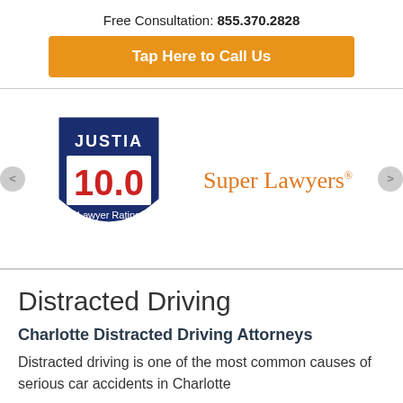Free Consultation: 855.370.2828
Tap Here to Call Us
[Figure (logo): Justia 10.0 Lawyer Rating shield badge in navy blue and red]
[Figure (logo): Super Lawyers orange text logo with superscript registered trademark symbol]
Distracted Driving
Charlotte Distracted Driving Attorneys
Distracted driving is one of the most common causes of serious car accidents in Charlotte